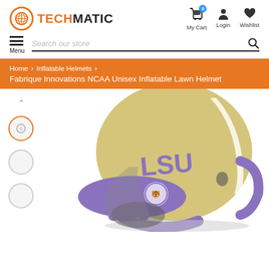[Figure (logo): TechMatic logo with orange circle icon and bold text TECHMATIC]
[Figure (infographic): Header icons: My Cart with blue badge 0, Login person icon, Wishlist heart icon]
[Figure (infographic): Navigation bar with hamburger menu (Menu) and Search our store input with magnifier icon]
Home  >  Inflatable Helmets  >
Fabrique Innovations NCAA Unisex Inflatable Lawn Helmet
[Figure (photo): LSU inflatable football lawn helmet - yellow/gold with purple LSU lettering and purple facemask, shown with thumbnail navigation circles on left]